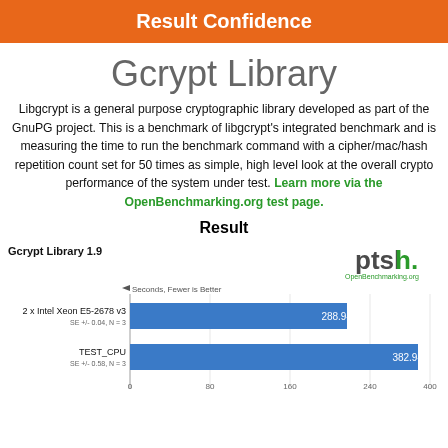Result Confidence
Gcrypt Library
Libgcrypt is a general purpose cryptographic library developed as part of the GnuPG project. This is a benchmark of libgcrypt's integrated benchmark and is measuring the time to run the benchmark command with a cipher/mac/hash repetition count set for 50 times as simple, high level look at the overall crypto performance of the system under test. Learn more via the OpenBenchmarking.org test page.
Result
[Figure (bar-chart): Gcrypt Library 1.9]